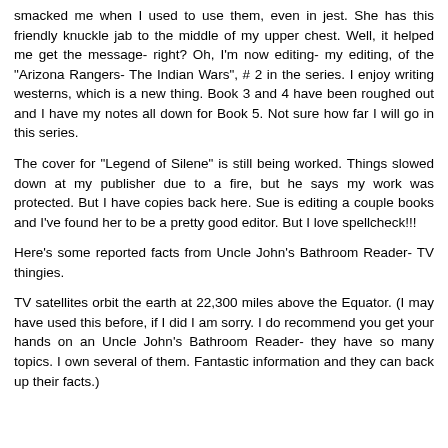smacked me when I used to use them, even in jest. She has this friendly knuckle jab to the middle of my upper chest. Well, it helped me get the message- right? Oh, I'm now editing- my editing, of the "Arizona Rangers- The Indian Wars", # 2 in the series. I enjoy writing westerns, which is a new thing. Book 3 and 4 have been roughed out and I have my notes all down for Book 5. Not sure how far I will go in this series.
The cover for "Legend of Silene" is still being worked. Things slowed down at my publisher due to a fire, but he says my work was protected. But I have copies back here. Sue is editing a couple books and I've found her to be a pretty good editor. But I love spellcheck!!!
Here's some reported facts from Uncle John's Bathroom Reader- TV thingies.
TV satellites orbit the earth at 22,300 miles above the Equator. (I may have used this before, if I did I am sorry. I do recommend you get your hands on an Uncle John's Bathroom Reader- they have so many topics. I own several of them. Fantastic information and they can back up their facts.)